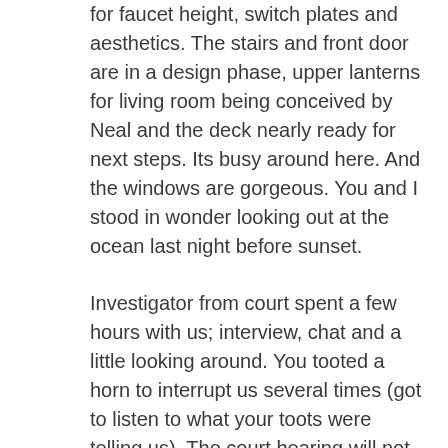for faucet height, switch plates and aesthetics. The stairs and front door are in a design phase, upper lanterns for living room being conceived by Neal and the deck nearly ready for next steps. Its busy around here. And the windows are gorgeous. You and I stood in wonder looking out at the ocean last night before sunset.
Investigator from court spent a few hours with us; interview, chat and a little looking around. You tooted a horn to interrupt us several times (got to listen to what your toots were telling us). The court hearing will not be contested by your mommy and daddy. Mommy seems okay, stuck maybe. Surgery for her hernia on Tuesday, court on Friday. Then does our normal return? Do we have one anymore? This new normal. The one that brings Gina 3 times a week, has you on my lap snuggling with room for